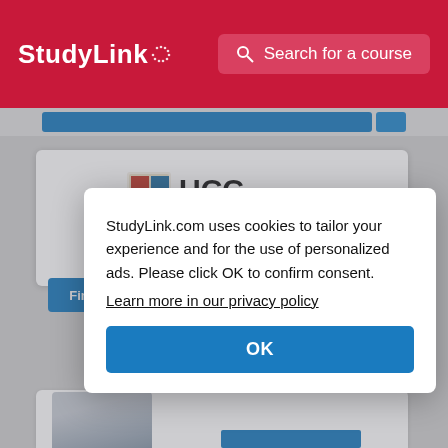StudyLink | Search for a course
[Figure (logo): UCC University College Cork, Ireland / Coláiste na hOllscoile Corcaigh logo]
Advanced Nurse Practitioner
Find
StudyLink.com uses cookies to tailor your experience and for the use of personalized ads. Please click OK to confirm consent.
Learn more in our privacy policy
OK